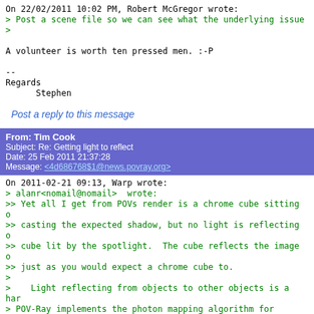On 22/02/2011 10:02 PM, Robert McGregor wrote:
> Post a scene file so we can see what the underlying issue
>

A volunteer is worth ten pressed men. :-P

--
Regards
      Stephen
Post a reply to this message
From: Tim Cook
Subject: Re: Getting light to reflect
Date: 25 Feb 2011 21:37:28
Message: <4d686768$1@news.povray.org>
On 2011-02-21 09:13, Warp wrote:
> alanr<nomail@nomail>  wrote:
>> Yet all I get from POVs render is a chrome cube sitting o
>> casting the expected shadow, but no light is reflecting o
>> cube lit by the spotlight.  The cube reflects the image o
>> just as you would expect a chrome cube to.
>
>    Light reflecting from objects to other objects is a har
> POV-Ray implements the photon mapping algorithm for reflec
> refracting) surfaces, which is probably what you are looki
> However, I'm not sure Moray supports this.

Are you wanting a visualisation of the beam of light in the
between the cube and the floor, or just the effect on the su
the latter, radiosity is sufficient.  If the former, you nee